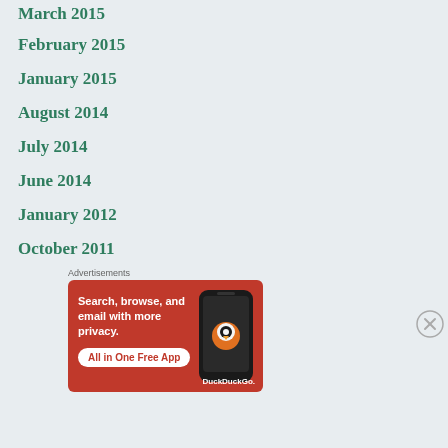March 2015
February 2015
January 2015
August 2014
July 2014
June 2014
January 2012
October 2011
Advertisements
[Figure (infographic): DuckDuckGo advertisement: orange background with phone, text 'Search, browse, and email with more privacy. All in One Free App. DuckDuckGo.']